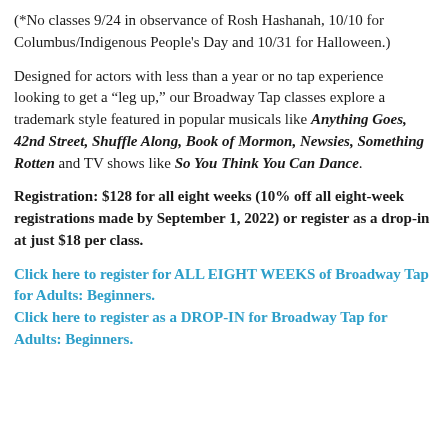(*No classes 9/24 in observance of Rosh Hashanah, 10/10 for Columbus/Indigenous People's Day and 10/31 for Halloween.)
Designed for actors with less than a year or no tap experience looking to get a “leg up,” our Broadway Tap classes explore a trademark style featured in popular musicals like Anything Goes, 42nd Street, Shuffle Along, Book of Mormon, Newsies, Something Rotten and TV shows like So You Think You Can Dance.
Registration: $128 for all eight weeks (10% off all eight-week registrations made by September 1, 2022) or register as a drop-in at just $18 per class.
Click here to register for ALL EIGHT WEEKS of Broadway Tap for Adults: Beginners. Click here to register as a DROP-IN for Broadway Tap for Adults: Beginners.